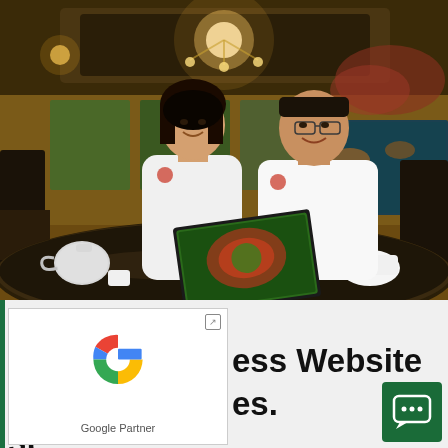[Figure (photo): Two people in white uniforms sitting at a round restaurant table looking at a laptop screen together. Ornate Chinese restaurant interior with decorative ceiling, chandelier, fish tank in background. White teapot and cups on table.]
[Figure (logo): Google Partner logo — multicolor Google G icon above the text 'Google Partner']
ess Website
es.
st
[Figure (illustration): Dark green square button with white chat bubble icon containing ellipsis (three dots)]